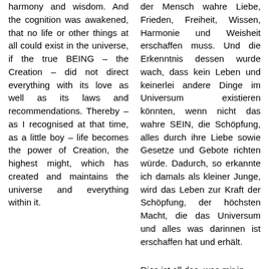harmony and wisdom. And the cognition was awakened, that no life or other things at all could exist in the universe, if the true BEING – the Creation – did not direct everything with its love as well as its laws and recommendations. Thereby – as I recognised at that time, as a little boy – life becomes the power of Creation, the highest might, which has created and maintains the universe and everything within it.
der Mensch wahre Liebe, Frieden, Freiheit, Wissen, Harmonie und Weisheit erschaffen muss. Und die Erkenntnis dessen wurde wach, dass kein Leben und keinerlei andere Dinge im Universum existieren könnten, wenn nicht das wahre SEIN, die Schöpfung, alles durch ihre Liebe sowie Gesetze und Gebote richten würde. Dadurch, so erkannte ich damals als kleiner Junge, wird das Leben zur Kraft der Schöpfung, der höchsten Macht, die das Universum und alles was darinnen ist erschaffen hat und erhält.
This is everything of which I
Dies ist all das, was mir in